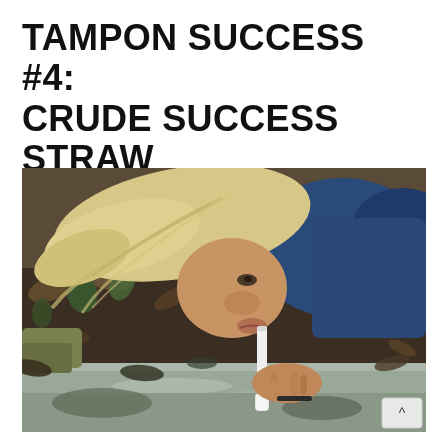TAMPON SUCCESS #4: CRUDE SUCCESS STRAW FILTER
[Figure (photo): A blonde-haired person lying close to the ground outdoors, drinking through a makeshift straw filter from a shallow puddle or stream on a muddy forest floor covered with leaves and debris. The person holds a small white straw-like filter device. They are wearing a blue jacket and a dark bracelet.]